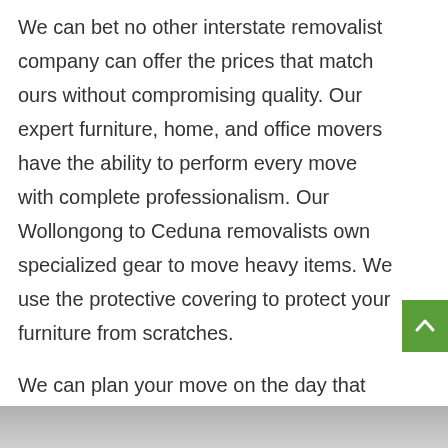We can bet no other interstate removalist company can offer the prices that match ours without compromising quality. Our expert furniture, home, and office movers have the ability to perform every move with complete professionalism. Our Wollongong to Ceduna removalists own specialized gear to move heavy items. We use the protective covering to protect your furniture from scratches.
We can plan your move on the day that suits you the most if we are available on that day. You will always have peace of mind after hiring our best removalists. You can contact us easily by calling on 1800 845 100. We are just one call away.
[Figure (photo): Partial photograph visible at the bottom of the page, mostly cropped]